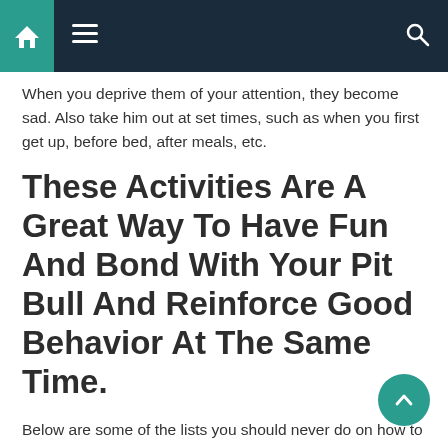Navigation bar with home, menu, and search icons
When you deprive them of your attention, they become sad. Also take him out at set times, such as when you first get up, before bed, after meals, etc.
These Activities Are A Great Way To Have Fun And Bond With Your Pit Bull And Reinforce Good Behavior At The Same Time.
Below are some of the lists you should never do on how to break up a pit bull fight. An obedience school for pitbulls is a big help. People are scared to do this because they think they might excite the dog.
You Only Make The Situation